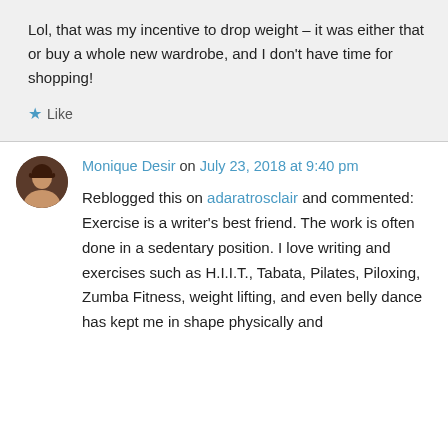Lol, that was my incentive to drop weight – it was either that or buy a whole new wardrobe, and I don't have time for shopping!
★ Like
Monique Desir on July 23, 2018 at 9:40 pm
Reblogged this on adaratrosclair and commented: Exercise is a writer's best friend. The work is often done in a sedentary position. I love writing and exercises such as H.I.I.T., Tabata, Pilates, Piloxing, Zumba Fitness, weight lifting, and even belly dance has kept me in shape physically and